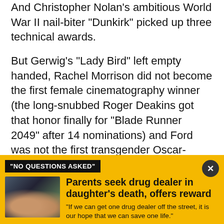And Christopher Nolan's ambitious World War II nail-biter "Dunkirk" picked up three technical awards.
But Gerwig's "Lady Bird" left empty handed, Rachel Morrison did not become the first female cinematography winner (the long-snubbed Roger Deakins got that honor finally for "Blade Runner 2049" after 14 nominations) and Ford was not the first transgender Oscar-winner.
There were glimpses of progress, in Chile's "A Fantastic Woman," which starred the transgender
"NO QUESTIONS ASKED"
Parents seek drug dealer in daughter's death, offers reward
"If we can get one drug dealer off the street, it is our hope that we can save one life."